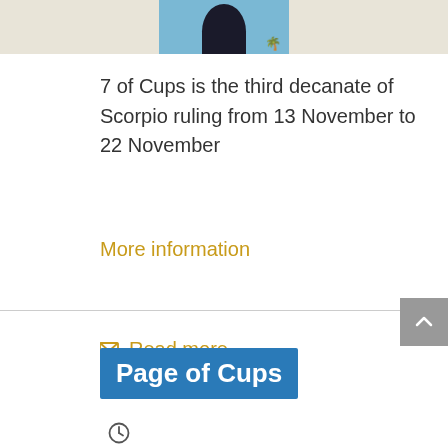[Figure (photo): Top partial image showing a figure silhouette against a blue sky background with a palm tree, beige/cream background on sides]
7 of Cups is the third decanate of Scorpio ruling from 13 November to 22 November
More information
Read more
Page of Cups
[Figure (other): Clock icon]